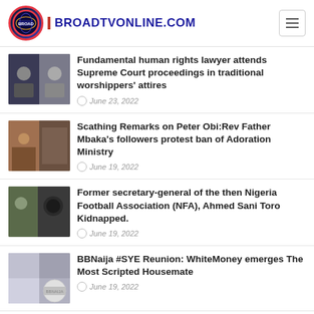BROADTVONLINE.COM
Fundamental human rights lawyer attends Supreme Court proceedings in traditional worshippers' attires — June 23, 2022
Scathing Remarks on Peter Obi:Rev Father Mbaka's followers protest ban of Adoration Ministry — June 19, 2022
Former secretary-general of the then Nigeria Football Association (NFA), Ahmed Sani Toro Kidnapped. — June 19, 2022
BBNaija #SYE Reunion: WhiteMoney emerges The Most Scripted Housemate — June 19, 2022
Aide to Akwa Ibom State Governor Emmanuel Udom — (partial)